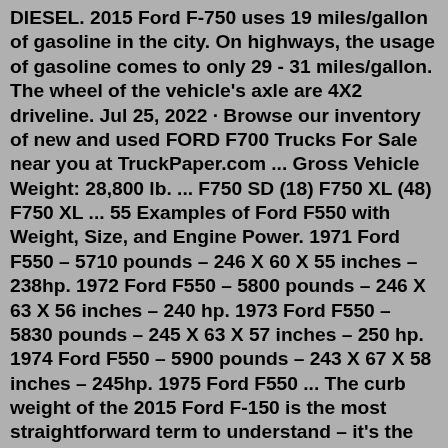DIESEL. 2015 Ford F-750 uses 19 miles/gallon of gasoline in the city. On highways, the usage of gasoline comes to only 29 - 31 miles/gallon. The wheel of the vehicle's axle are 4X2 driveline. Jul 25, 2022 · Browse our inventory of new and used FORD F700 Trucks For Sale near you at TruckPaper.com ... Gross Vehicle Weight: 28,800 lb. ... F750 SD (18) F750 XL (48) F750 XL ... 55 Examples of Ford F550 with Weight, Size, and Engine Power. 1971 Ford F550 – 5710 pounds – 246 X 60 X 55 inches – 238hp. 1972 Ford F550 – 5800 pounds – 246 X 63 X 56 inches – 240 hp. 1973 Ford F550 – 5830 pounds – 245 X 63 X 57 inches – 250 hp. 1974 Ford F550 – 5900 pounds – 243 X 67 X 58 inches – 245hp. 1975 Ford F550 ... The curb weight of the 2015 Ford F-150 is the most straightforward term to understand – it's the weight of a car if it foliage the manufacturing facility without any cargo, components, or travellers. This parameter is also called the standard weight. Your 2015 Ford F-150 dry weight is its curb weight without energy. 2009 F350 XL 4WD Crew Cab – 6,567 pounds. 2010 F350